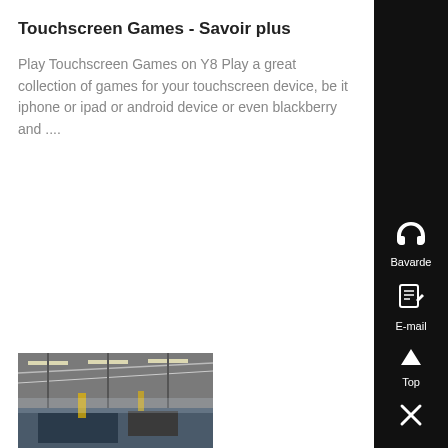Touchscreen Games - Savoir plus
Play Touchscreen Games on Y8 Play a great collection of games for your touchscreen device, be it iphone or ipad or android device or even blackberry and ....
[Figure (photo): Industrial or warehouse interior photo showing ceiling, lighting, and machinery]
[Figure (infographic): Black sidebar with headphone icon labeled Bavarde, email/document icon labeled E-mail, up arrow labeled Top, and X close button]